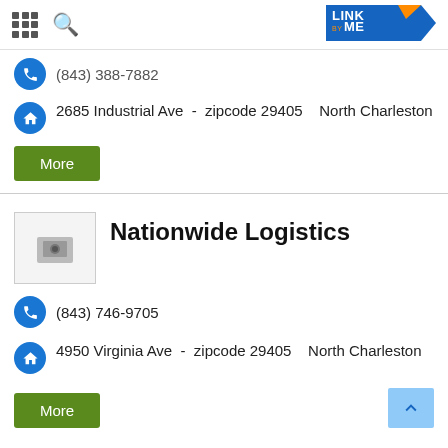LinkByMe app header with grid icon, search icon, and LINK BY ME logo
(843) 388-7882 (partially visible phone number)
2685 Industrial Ave - zipcode 29405 North Charleston
More
Nationwide Logistics
(843) 746-9705
4950 Virginia Ave - zipcode 29405 North Charleston
More